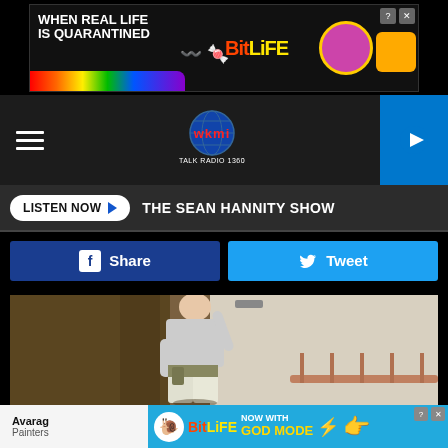[Figure (screenshot): BitLife advertisement banner at top: 'WHEN REAL LIFE IS QUARANTINED' with rainbow, BitLife logo, emoji characters, close buttons]
[Figure (logo): WKMI Talk Radio 1360 logo with globe graphic, hamburger menu on left, play button on right]
LISTEN NOW ▶   THE SEAN HANNITY SHOW
[Figure (other): Facebook Share button and Twitter Tweet button]
[Figure (photo): Photo of a painter/worker painting walls in a hallway, viewed from behind, wearing grey shirt and light pants]
Avarag
Painters
[Figure (screenshot): BitLife 'NOW WITH GOD MODE' advertisement banner at bottom with cartoon hands and lightning bolt]